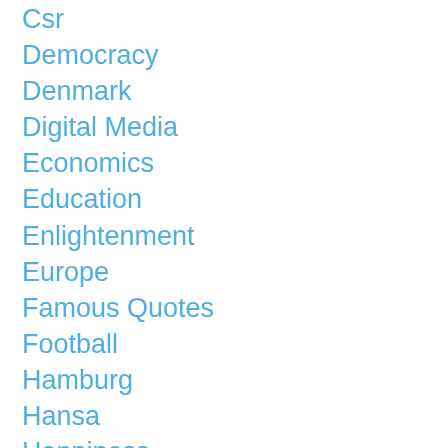Csr
Democracy
Denmark
Digital Media
Economics
Education
Enlightenment
Europe
Famous Quotes
Football
Hamburg
Hansa
Happiness
Health
History
Humor
Hungary
Ibizagate
Individuation
Innovation
Integration